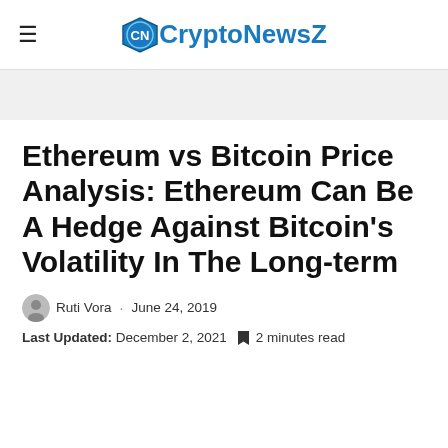CryptoNewsZ
Ethereum vs Bitcoin Price Analysis: Ethereum Can Be A Hedge Against Bitcoin's Volatility In The Long-term
Ruti Vora · June 24, 2019
Last Updated: December 2, 2021  2 minutes read